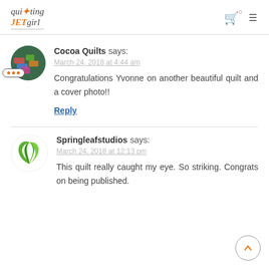Quilting Jet Girl - website header with logo, cart, and menu icons
Cocoa Quilts says:
March 24, 2018 at 4:44 am
Congratulations Yvonne on another beautiful quilt and a cover photo!!
Reply
Springleafstudios says:
March 24, 2018 at 12:13 pm
This quilt really caught my eye. So striking. Congrats on being published.